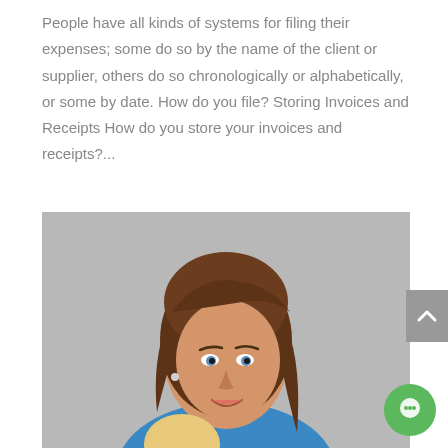People have all kinds of systems for filing their expenses; some do so by the name of the client or supplier, others do so chronologically or alphabetically, or some by date. How do you file? Storing Invoices and Receipts How do you store your invoices and receipts?...
[Figure (photo): Portrait photo of a smiling woman with brown hair wearing a blue top, shown from shoulders up]